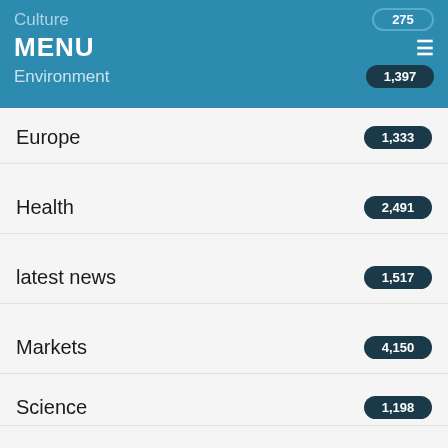Culture | MENU | Environment
Europe 1,333
Health 2,491
latest news 1,517
Markets 4,150
Science 1,198
Sports 6,006
Tech 5,557
UK Politics